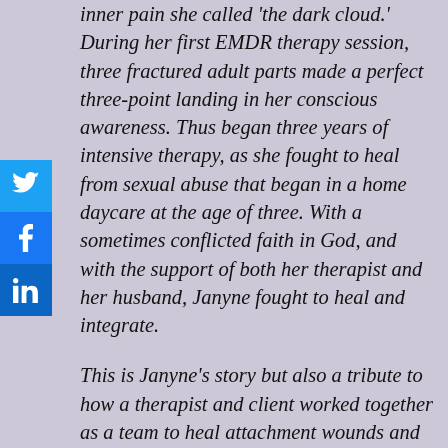inner pain she called 'the dark cloud.' During her first EMDR therapy session, three fractured adult parts made a perfect three-point landing in her conscious awareness. Thus began three years of intensive therapy, as she fought to heal from sexual abuse that began in a home daycare at the age of three. With a sometimes conflicted faith in God, and with the support of both her therapist and her husband, Janyne fought to heal and integrate.
This is Janyne's story but also a tribute to how a therapist and client worked together as a team to heal attachment wounds and increasingly tragic memories. Insights into the early wiring of unmet attachment needs, as well as dissociative coping